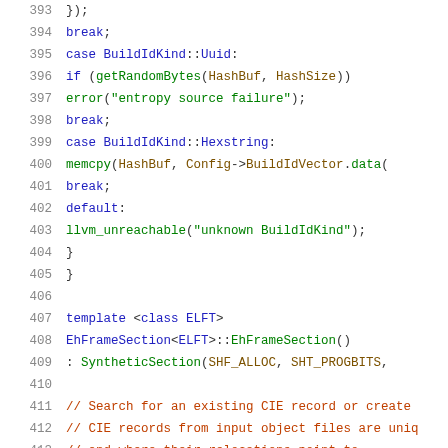[Figure (screenshot): Source code snippet in C++ showing lines 393-414 with syntax highlighting. Code includes switch-case for BuildIdKind (Uuid, Hexstring, default), template definition for EhFrameSection, and comments about CIE records.]